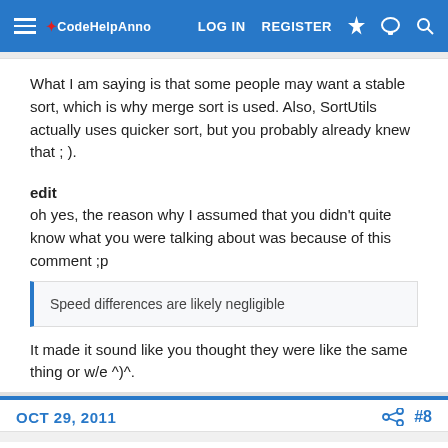CodeHelpAnno LOG IN REGISTER
What I am saying is that some people may want a stable sort, which is why merge sort is used. Also, SortUtils actually uses quicker sort, but you probably already knew that ; ).
edit
oh yes, the reason why I assumed that you didn't quite know what you were talking about was because of this comment ;p
Speed differences are likely negligible
It made it sound like you thought they were like the same thing or w/e ^)^.
OCT 29, 2011  #8